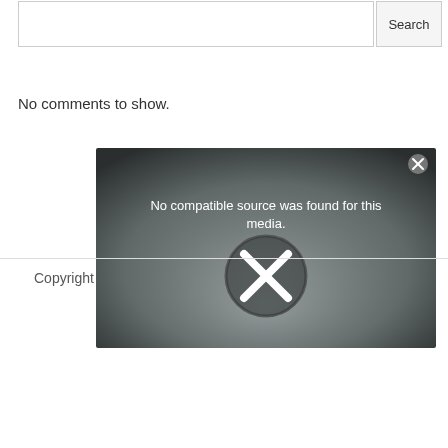Search
No comments to show.
[Figure (screenshot): Video player error overlay showing 'No compatible source was found for this media.' with a large X icon on a dark grey gradient background and a close (x) button in the top right corner.]
Copyright